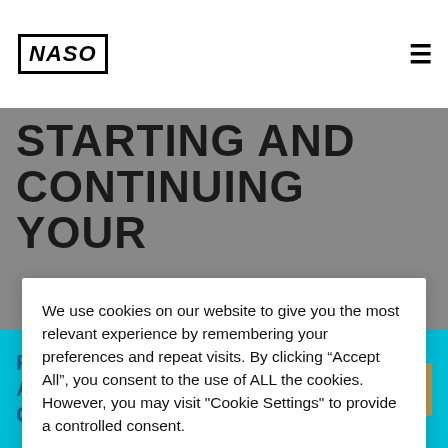NASO
STARTING AND CONTINUING YOUR
We use cookies on our website to give you the most relevant experience by remembering your preferences and repeat visits. By clicking “Accept All”, you consent to the use of ALL the cookies. However, you may visit "Cookie Settings" to provide a controlled consent.
leaders. Your local association should also help you make contacts to get games. Per
Public Service Announcements & Commercials View & Download